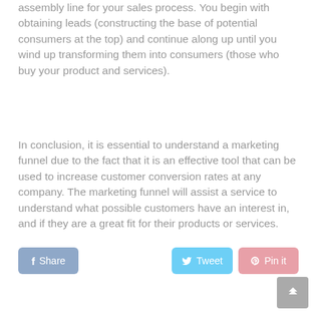assembly line for your sales process. You begin with obtaining leads (constructing the base of potential consumers at the top) and continue along up until you wind up transforming them into consumers (those who buy your product and services).
In conclusion, it is essential to understand a marketing funnel due to the fact that it is an effective tool that can be used to increase customer conversion rates at any company. The marketing funnel will assist a service to understand what possible customers have an interest in, and if they are a great fit for their products or services.
[Figure (infographic): Social sharing buttons: Share (Facebook), Tweet (Twitter), Pin it (Pinterest)]